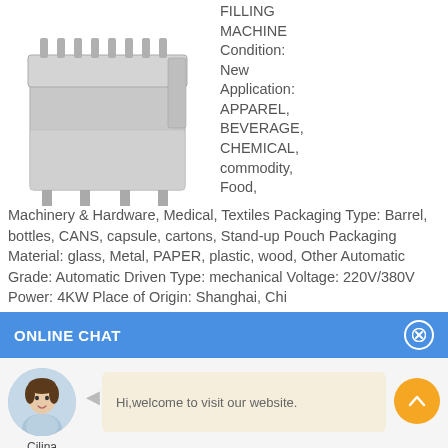[Figure (photo): Industrial automatic filling machine, metallic/silver casing with multiple filling nozzles on top]
FILLING MACHINE Condition: New Application: APPAREL, BEVERAGE, CHEMICAL, commodity, Food, Machinery & Hardware, Medical, Textiles Packaging Type: Barrel, bottles, CANS, capsule, cartons, Stand-up Pouch Packaging Material: glass, Metal, PAPER, plastic, wood, Other Automatic Grade: Automatic Driven Type: mechanical Voltage: 220V/380V Power: 4KW Place of Origin: Shanghai, China Brand Name: Npack Automatic Filling Bleach
ONLINE CHAT
[Figure (photo): Avatar photo of a woman named Cilina in a light blue shirt]
Hi,welcome to visit our website.
Cilina